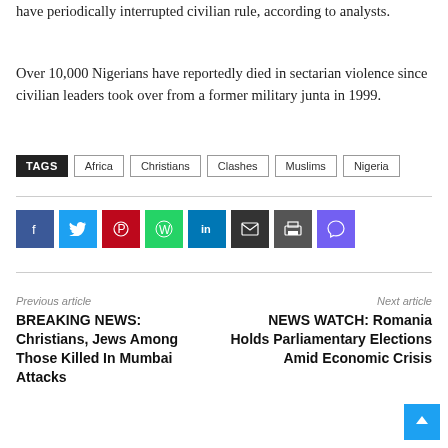have periodically interrupted civilian rule, according to analysts.
Over 10,000 Nigerians have reportedly died in sectarian violence since civilian leaders took over from a former military junta in 1999.
TAGS  Africa  Christians  Clashes  Muslims  Nigeria
[Figure (infographic): Social sharing buttons: Facebook, Twitter, Pinterest, WhatsApp, LinkedIn, Email, Print, Viber]
Previous article
BREAKING NEWS: Christians, Jews Among Those Killed In Mumbai Attacks
Next article
NEWS WATCH: Romania Holds Parliamentary Elections Amid Economic Crisis